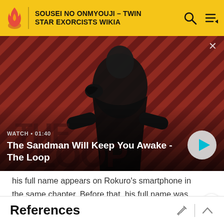SOUSEI NO ONMYOUJI - TWIN STAR EXORCISTS WIKIA
[Figure (screenshot): Video thumbnail showing a dark-dressed figure with a raven on their shoulder against a red and dark striped background. Overlaid text reads WATCH • 01:40 and title The Sandman Will Keep You Awake - The Loop, with a play button on the right.]
his full name appears on Rokuro's smartphone in the same chapter. Before that, his full name was shown in Volume 12 Extra Pages.
References